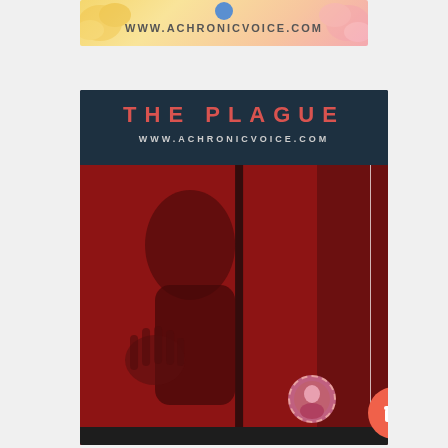[Figure (illustration): Top banner with floral background and text WWW.ACHRONICVOICE.COM with a small circle avatar icon]
[Figure (illustration): Dark poster image titled THE PLAGUE with website URL WWW.ACHRONICVOICE.COM, featuring a red-toned photo of a silhouette pressing hand against glass, with a vertical white line on the right side, a dashed avatar circle and a coffee cup button in the lower right corner]